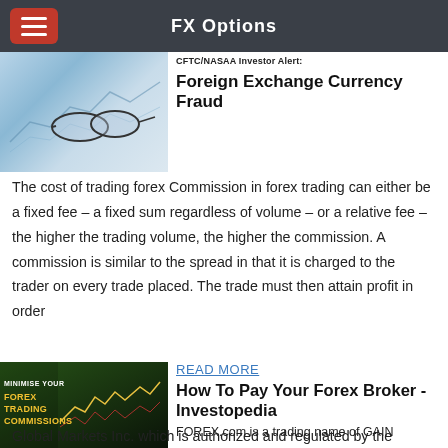FX Options
[Figure (photo): Chart and glasses image for forex article]
CFTC/NASAA Investor Alert: Foreign Exchange Currency Fraud
The cost of trading forex Commission in forex trading can either be a fixed fee – a fixed sum regardless of volume – or a relative fee – the higher the trading volume, the higher the commission. A commission is similar to the spread in that it is charged to the trader on every trade placed. The trade must then attain profit in order
[Figure (photo): Man in suit with forex trading chart overlay, text: MINIMISE YOUR FOREX TRADING COMMISSIONS]
READ MORE
How To Pay Your Forex Broker - Investopedia
FOREX.com is a trading name of GAIN Global Markets Inc. which is authorized and regulated by the Cayman Islands Monetary Authority under the Securities